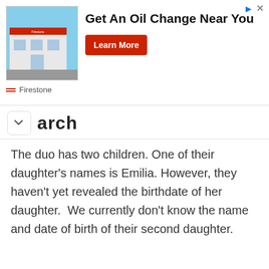[Figure (infographic): Firestone advertisement banner showing a store building image on left, bold headline 'Get An Oil Change Near You', a red 'Learn More' button, Firestone brand name with red dashes, and ad icons (triangle and X) in top right.]
arch
The duo has two children. One of their daughter's names is Emilia. However, they haven't yet revealed the birthdate of her daughter.  We currently don't know the name and date of birth of their second daughter.
[Figure (photo): Family photo showing a blonde woman in a black dress on the left, two young girls in the middle (one small with red hair, one older with braids in white top), and a blonde man in a grey suit on the right, all sitting together in a stylish interior setting.]